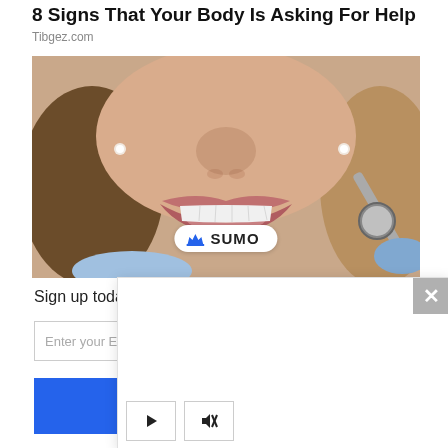8 Signs That Your Body Is Asking For Help
Tibgez.com
[Figure (photo): Close-up photo of a woman smiling at a dental examination, with a dental mirror visible on the right side. A SUMO logo badge overlay is visible near the bottom center of the image.]
Sign up today
Enter your Email
[Figure (screenshot): White modal/popup overlay partially covering the page content, with a grey X close button in the top right corner, and video playback controls (play button and another icon) visible at the bottom.]